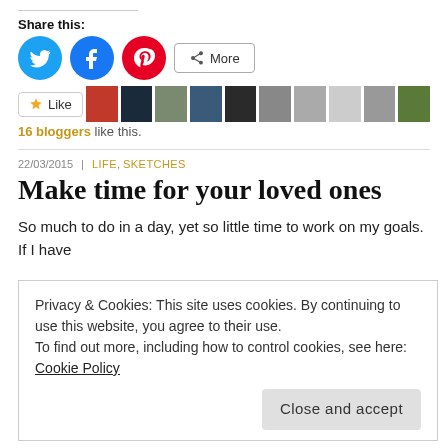Share this:
[Figure (infographic): Row of social share buttons: Twitter (blue circle), Facebook (blue circle), Pinterest (red circle), and a 'More' button with share icon]
[Figure (infographic): Like button with star icon followed by a row of 10 blogger avatar thumbnails]
16 bloggers like this.
22/03/2015  |  LIFE, SKETCHES
Make time for your loved ones
So much to do in a day, yet so little time to work on my goals. If I have
Privacy & Cookies: This site uses cookies. By continuing to use this website, you agree to their use.
To find out more, including how to control cookies, see here: Cookie Policy
Close and accept
Share this: